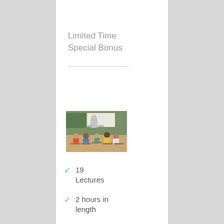Limited Time Special Bonus
[Figure (photo): A teacher leaning over a desk interacting with students in a classroom setting, with a whiteboard in the background.]
19 Lectures
2 hours in length